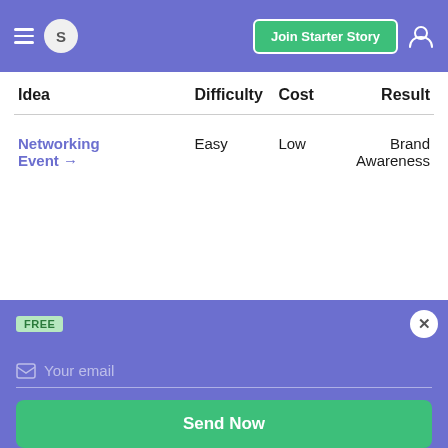S  Join Starter Story
| Idea | Difficulty | Cost | Result |
| --- | --- | --- | --- |
| Networking Event → | Easy | Low | Brand Awareness |
FREE
Want 52 business ideas you can start with less than $1,000?
Your email
Send Now